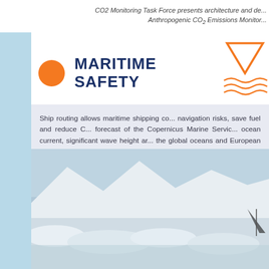CO2 Monitoring Task Force presents architecture and de... Anthropogenic CO₂ Emissions Monitor...
MARITIME SAFETY
Ship routing allows maritime shipping co... navigation risks, save fuel and reduce C... forecast of the Copernicus Marine Servic... ocean current, significant wave height ar... the global oceans and European Seas fo... for ship routing software. The Copernicu... satellite products also help maritime ship... safest navigation routes through ice cov...
[Figure (photo): Aerial or ground-level photo of a ship navigating through ice-covered waters with snow-capped mountains in the background]